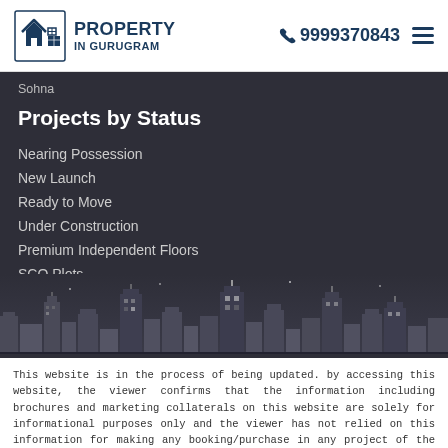PROPERTY IN GURUGRAM | 9999370843
Sohna
Projects by Status
Nearing Possession
New Launch
Ready to Move
Under Construction
Premium Independent Floors
SCO Plots
Residential Plots
Sitemap
[Figure (illustration): City skyline silhouette in grey tones at the bottom of the dark section]
This website is in the process of being updated. by accessing this website, the viewer confirms that the information including brochures and marketing collaterals on this website are solely for informational purposes only and the viewer has not relied on this information for making any booking/purchase in any project of the company. Nothing